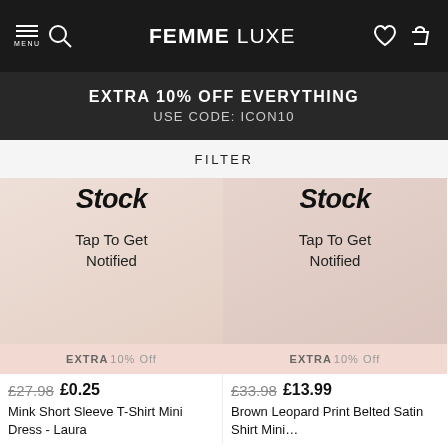FEMME LUXE
EXTRA 10% OFF EVERYTHING USE CODE: ICON10
FILTER
[Figure (screenshot): Left product card: Out of stock overlay with 'Stock' text, 'Tap To Get Notified', pink 'EXTRA 10% Off' badge, crossed out price £27.98, sale price £0.25, product name 'Mink Short Sleeve T-Shirt Mini Dress - Laura']
[Figure (screenshot): Right product card: Out of stock overlay with 'Stock' text, 'Tap To Get Notified', pink 'EXTRA 10% Off' badge, crossed out price £33.98, sale price £13.99, product name 'Brown Leopard Print Belted Satin Shirt Mini...']